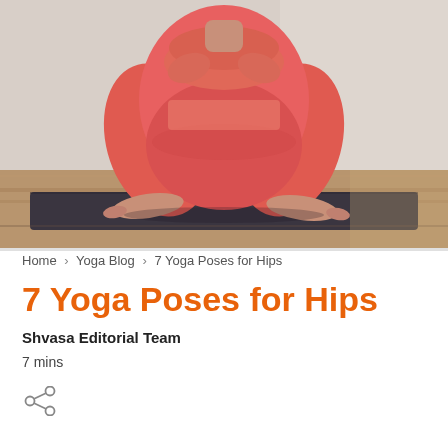[Figure (photo): A person in red/coral yoga outfit performing a deep squat (malasana/garland pose) on a dark yoga mat, feet bare on the mat, arms folded in front, photographed from approximately waist down against a wooden floor background.]
Home > Yoga Blog > 7 Yoga Poses for Hips
7 Yoga Poses for Hips
Shvasa Editorial Team
7 mins